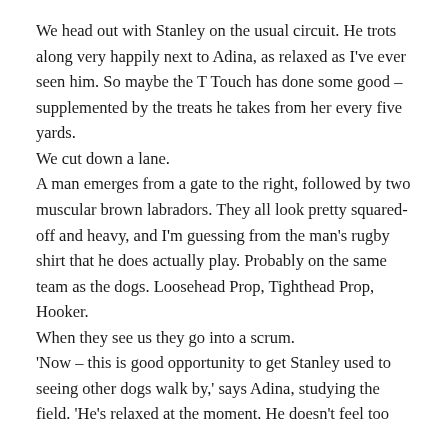We head out with Stanley on the usual circuit. He trots along very happily next to Adina, as relaxed as I've ever seen him. So maybe the T Touch has done some good – supplemented by the treats he takes from her every five yards.
We cut down a lane.
A man emerges from a gate to the right, followed by two muscular brown labradors. They all look pretty squared-off and heavy, and I'm guessing from the man's rugby shirt that he does actually play. Probably on the same team as the dogs. Loosehead Prop, Tighthead Prop, Hooker.
When they see us they go into a scrum.
'Now – this is good opportunity to get Stanley used to seeing other dogs walk by,' says Adina, studying the field. 'He's relaxed at the moment. He doesn't feel too